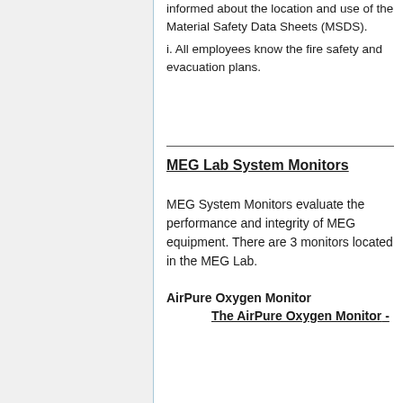informed about the location and use of the Material Safety Data Sheets (MSDS).
i. All employees know the fire safety and evacuation plans.
MEG Lab System Monitors
MEG System Monitors evaluate the performance and integrity of MEG equipment. There are 3 monitors located in the MEG Lab.
AirPure Oxygen Monitor
The AirPure Oxygen Monitor -